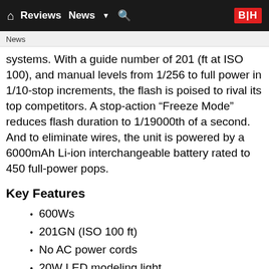Reviews  News  B|H
News
systems. With a guide number of 201 (ft at ISO 100), and manual levels from 1/256 to full power in 1/10-stop increments, the flash is poised to rival its top competitors. A stop-action “Freeze Mode” reduces flash duration to 1/19000th of a second. And to eliminate wires, the unit is powered by a 6000mAh Li-ion interchangeable battery rated to 450 full-power pops.
Key Features
600Ws
201GN (ISO 100 ft)
No AC power cords
20W LED modeling light